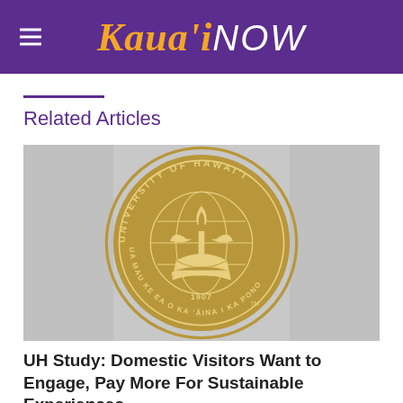KAUAI'NOW
Related Articles
[Figure (logo): University of Hawai'i official seal, gold color, with text 'UNIVERSITY OF HAWAI'I', 'MĀLAMALAMA', 'UA MAU KE EA O KA 'ĀINA I KA PONO', '1907']
UH Study: Domestic Visitors Want to Engage, Pay More For Sustainable Experiences